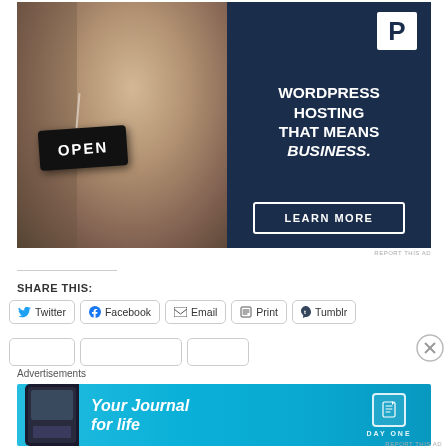[Figure (infographic): WordPress hosting advertisement banner. Left half shows a photo of a woman holding an OPEN sign. Right half is dark navy blue with a white 'P' logo, headline 'WORDPRESS HOSTING THAT MEANS BUSINESS.' in white bold text, and a 'LEARN MORE' button with white border.]
REPORT THIS AD
SHARE THIS:
Twitter
Facebook
Email
Print
Tumblr
Advertisements
[Figure (infographic): Day One app advertisement. Light blue/cyan gradient background with a phone mockup on the left, italic text 'Your Journal for life' in white, and the Day One logo (book icon with DAY ONE lettering) on the right.]